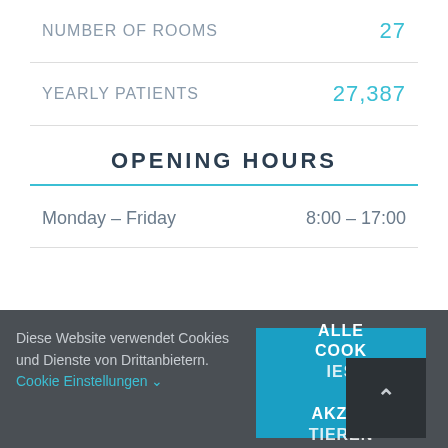NUMBER OF ROOMS    27
YEARLY PATIENTS    27,387
OPENING HOURS
Monday – Friday    8:00 – 17:00
Diese Website verwendet Cookies und Dienste von Drittanbietern. Cookie Einstellungen
ALLE COOKIES AKZEPTIEREN